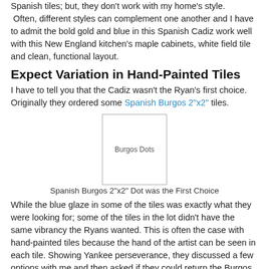Spanish tiles; but, they don't work with my home's style. Often, different styles can complement one another and I have to admit the bold gold and blue in this Spanish Cadiz work well with this New England kitchen's maple cabinets, white field tile and clean, functional layout.
Expect Variation in Hand-Painted Tiles
I have to tell you that the Cadiz wasn't the Ryan's first choice. Originally they ordered some Spanish Burgos 2"x2" tiles.
[Figure (photo): Burgos Dots tile image placeholder]
Spanish Burgos 2"x2" Dot was the First Choice
While the blue glaze in some of the tiles was exactly what they were looking for; some of the tiles in the lot didn't have the same vibrancy the Ryans wanted. This is often the case with hand-painted tiles because the hand of the artist can be seen in each tile. Showing Yankee perseverance, they discussed a few options with me and then asked if they could return the Burgos dots and try the Cadiz 4"x4" and